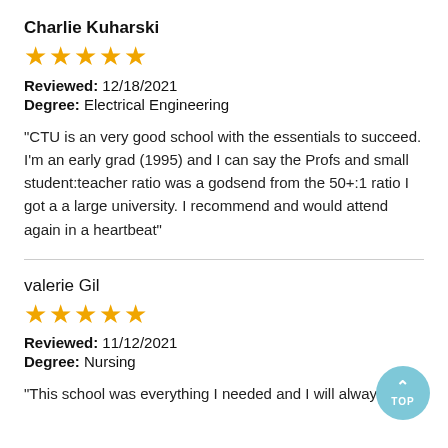Charlie Kuharski
[Figure (other): 5 gold stars rating]
Reviewed: 12/18/2021
Degree: Electrical Engineering
"CTU is an very good school with the essentials to succeed. I'm an early grad (1995) and I can say the Profs and small student:teacher ratio was a godsend from the 50+:1 ratio I got a a large university. I recommend and would attend again in a heartbeat"
valerie Gil
[Figure (other): 5 gold stars rating]
Reviewed: 11/12/2021
Degree: Nursing
"This school was everything I needed and I will always be